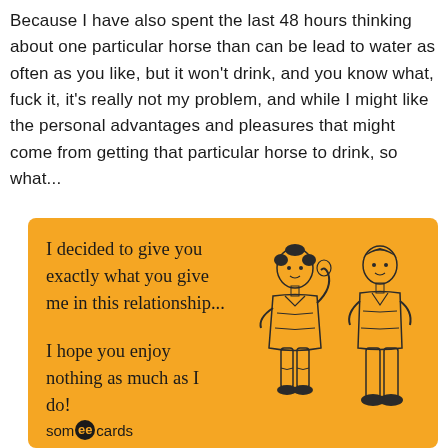Because I have also spent the last 48 hours thinking about one particular horse than can be lead to water as often as you like, but it won't drink, and you know what, fuck it, it's really not my problem, and while I might like the personal advantages and pleasures that might come from getting that particular horse to drink, so what...
[Figure (other): A someecards meme card with orange/amber background featuring vintage illustration of two children (a girl and a boy). Text reads: 'I decided to give you exactly what you give me in this relationship... I hope you enjoy nothing as much as I do!' with someecards logo at bottom.]